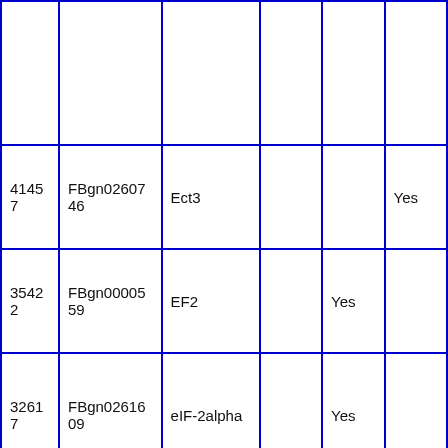|  |  |  |  |  |  |
| 41457 | FBgn0260746 | Ect3 |  |  | Yes |
| 35422 | FBgn0000559 | EF2 |  | Yes |  |
| 32617 | FBgn0261609 | eIF-2alpha |  | Yes |  |
|  |  |  |  |  |  |